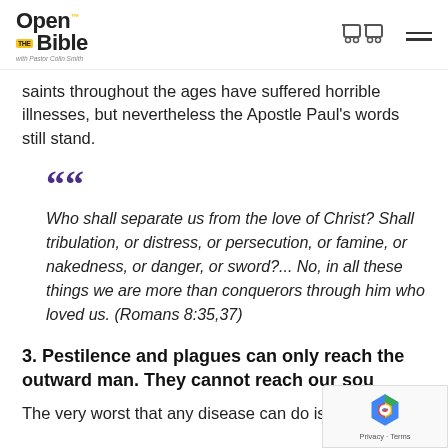Open the Bible with Pastor Colin Smith
saints throughout the ages have suffered horrible illnesses, but nevertheless the Apostle Paul's words still stand.
" Who shall separate us from the love of Christ? Shall tribulation, or distress, or persecution, or famine, or nakedness, or danger, or sword?... No, in all these things we are more than conquerors through him who loved us. (Romans 8:35,37)
3. Pestilence and plagues can only reach the outward man. They cannot reach our sou
The very worst that any disease can do is kill our